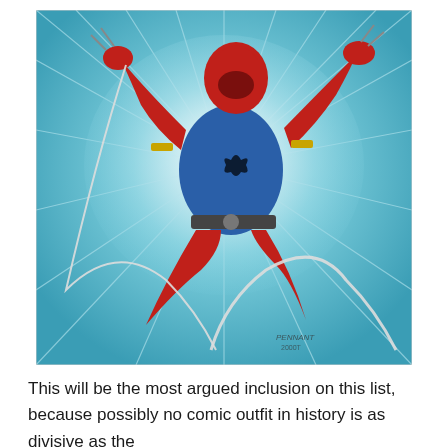[Figure (illustration): Comic book illustration of a superhero character in a red and blue costume with a spider emblem on the chest, dynamic action pose swinging with web, set against a radiant blue burst background. The character has claws/hooks and web lines. Artist signature visible in lower right.]
This will be the most argued inclusion on this list, because possibly no comic outfit in history is as divisive as the